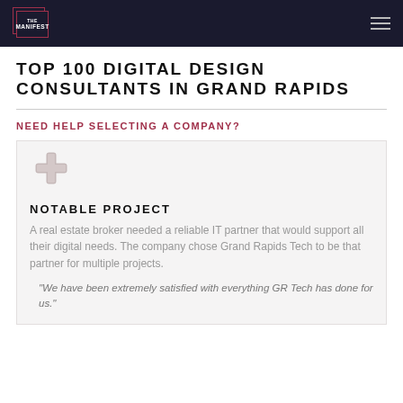THE MANIFEST
TOP 100 DIGITAL DESIGN CONSULTANTS IN GRAND RAPIDS
NEED HELP SELECTING A COMPANY?
[Figure (other): Plus/cross icon indicating expandable or add action]
NOTABLE PROJECT
A real estate broker needed a reliable IT partner that would support all their digital needs. The company chose Grand Rapids Tech to be that partner for multiple projects.
"We have been extremely satisfied with everything GR Tech has done for us."